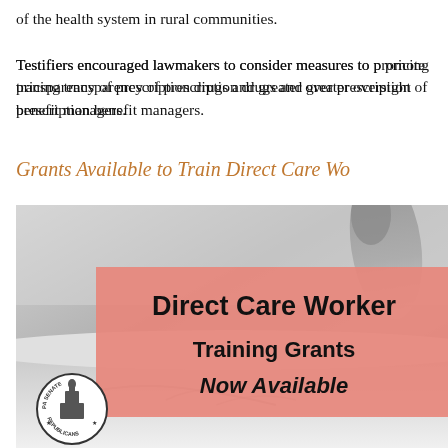of the health system in rural communities.
Testifiers encouraged lawmakers to consider measures to promote pricing transparency of prescription drugs and greater oversight of prescription benefit managers.
Grants Available to Train Direct Care Workers
[Figure (photo): Grayscale photo of a caregiver helping a patient in bed, with a pink/salmon overlay box showing bold text: 'Direct Care Workers Training Grants Now Available', and PA Senate Republicans logo in the lower left corner.]